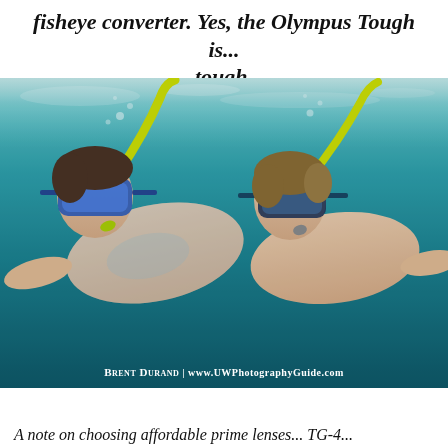fisheye converter. Yes, the Olympus Tough is... tough.
[Figure (photo): Two snorkelers photographed underwater, wearing masks and yellow snorkels, swimming in clear turquoise water. Photo credit: Brent Durand | www.UWPhotographyGuide.com]
Brent Durand | www.UWPhotographyGuide.com
A note on choosing affordable prime lenses... TG-4...